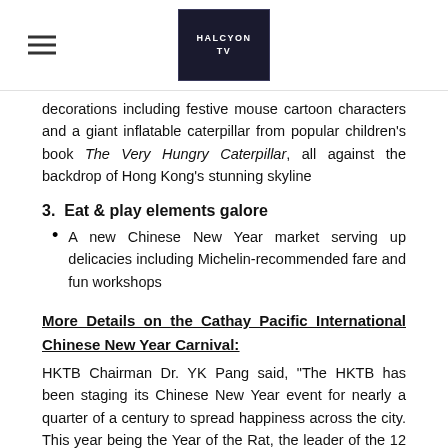[Figure (logo): Halcyon TV logo — dark navy background with white text reading HALCYON TV inside a rectangle border]
decorations including festive mouse cartoon characters and a giant inflatable caterpillar from popular children's book The Very Hungry Caterpillar, all against the backdrop of Hong Kong's stunning skyline
3.  Eat & play elements galore
A new Chinese New Year market serving up delicacies including Michelin-recommended fare and fun workshops
More Details on the Cathay Pacific International Chinese New Year Carnival:
HKTB Chairman Dr. YK Pang said, "The HKTB has been staging its Chinese New Year event for nearly a quarter of a century to spread happiness across the city. This year being the Year of the Rat, the leader of the 12 Chinese zodiac signs, it is not only the beginning of a new cycle, but also marks the